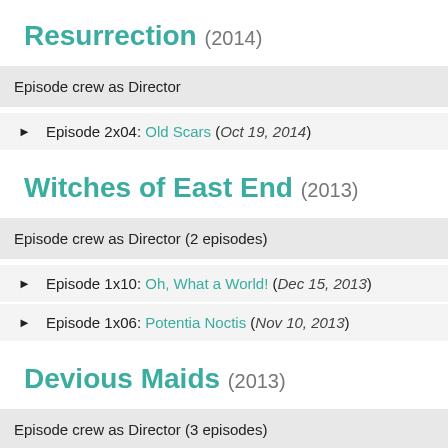Resurrection (2014)
Episode crew as Director
Episode 2x04: Old Scars (Oct 19, 2014)
Witches of East End (2013)
Episode crew as Director (2 episodes)
Episode 1x10: Oh, What a World! (Dec 15, 2013)
Episode 1x06: Potentia Noctis (Nov 10, 2013)
Devious Maids (2013)
Episode crew as Director (3 episodes)
Episode 2x11: You Can't Take It With You (Jun 29,